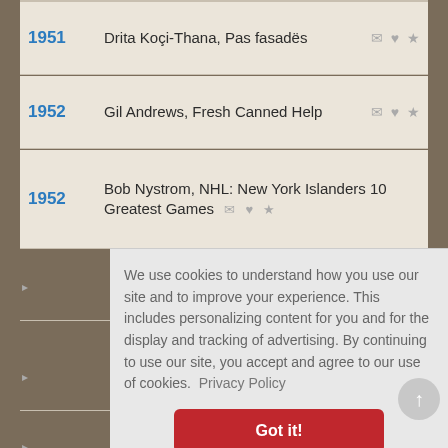1951 — Drita Koçi-Thana, Pas fasadës
1952 — Gil Andrews, Fresh Canned Help
1952 — Bob Nystrom, NHL: New York Islanders 10 Greatest Games
We use cookies to understand how you use our site and to improve your experience. This includes personalizing content for you and for the display and tracking of advertising. By continuing to use our site, you accept and agree to our use of cookies. Privacy Policy
Got it!